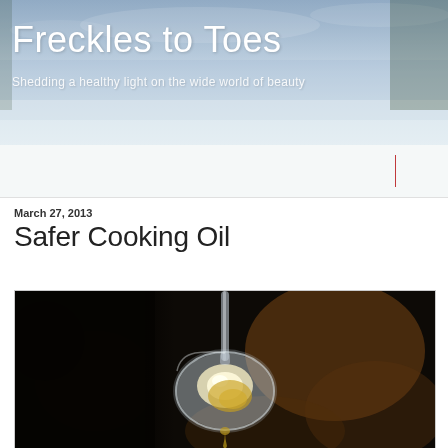Freckles to Toes
Shedding a healthy light on the wide world of beauty
March 27, 2013
Safer Cooking Oil
[Figure (photo): Close-up photo of a glass spoon holding golden oil against a dark blurred background]